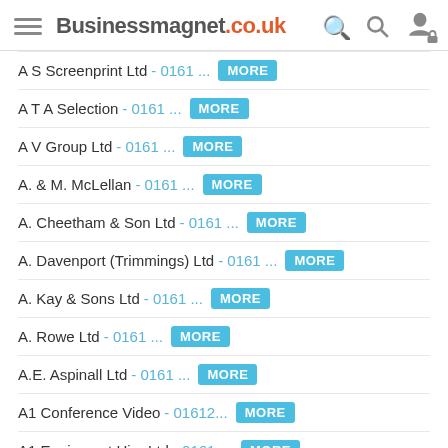Businessmagnet.co.uk
A S Screenprint Ltd - 0161 ... MORE
A T A Selection - 0161 ... MORE
A V Group Ltd - 0161 ... MORE
A. & M. McLellan - 0161 ... MORE
A. Cheetham & Son Ltd - 0161 ... MORE
A. Davenport (Trimmings) Ltd - 0161 ... MORE
A. Kay & Sons Ltd - 0161 ... MORE
A. Rowe Ltd - 0161 ... MORE
A.E. Aspinall Ltd - 0161 ... MORE
A1 Conference Video - 01612... MORE
A1 Equipment Hire Ltd - 0161-... MORE
A1 PAT Testing - 01617... MORE
A1 Reclaimed Brick Specialists - 01617... MORE